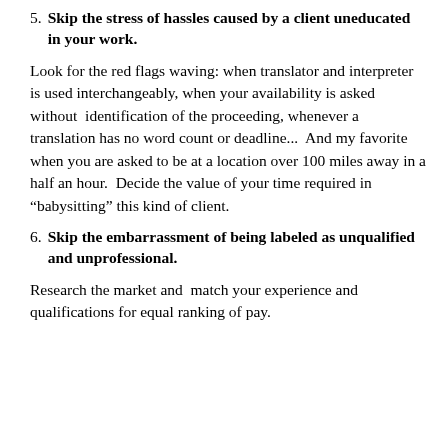5. Skip the stress of hassles caused by a client uneducated in your work.
Look for the red flags waving: when translator and interpreter is used interchangeably, when your availability is asked without identification of the proceeding, whenever a translation has no word count or deadline...  And my favorite when you are asked to be at a location over 100 miles away in a half an hour.  Decide the value of your time required in “babysitting” this kind of client.
6. Skip the embarrassment of being labeled as unqualified and unprofessional.
Research the market and  match your experience and qualifications for equal ranking of pay.